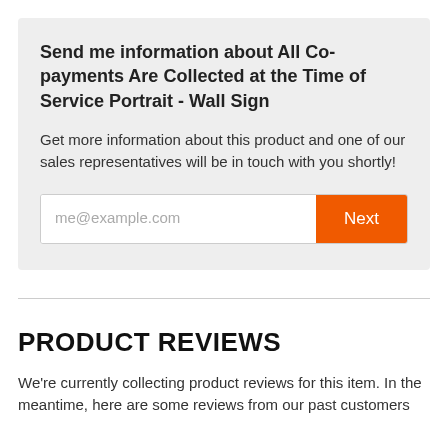Send me information about All Co-payments Are Collected at the Time of Service Portrait - Wall Sign
Get more information about this product and one of our sales representatives will be in touch with you shortly!
me@example.com [input field] Next [button]
PRODUCT REVIEWS
We're currently collecting product reviews for this item. In the meantime, here are some reviews from our past customers